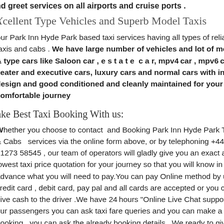nd greet services on all airports and cruise ports .
Xcellent Type Vehicles and Superb Model Taxis
Our Park Inn Hyde Park based taxi services having all types of reliable taxis and cabs . We have large number of vehicles and lot of model & type cars like Saloon car , estate car, mpv4 car , mpv6 car , 8 seater and executive cars, luxury cars and normal cars with interior design and good conditioned and cleanly maintained for your comfortable journey
Make Best Taxi Booking With us:
Whether you choose to contact and Booking Park Inn Hyde Park Taxis & Cabs services via the online form above, or by telephoning +44 01273 58545 , our team of operators will gladly give you an exact and lowest taxi price quotation for your journey so that you will know in advance what you will need to pay.You can pay Online method by using credit card , debit card, pay pal and all cards are accepted or you can give cash to the driver .We have 24 hours "Online Live Chat support " for our passengers you can ask taxi fare queries and you can make a taxi booking , you can ask the already booking details . We ready to give full support to you.